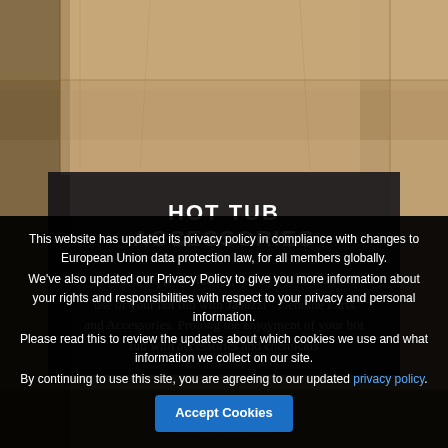[Figure (photo): Background photo showing cardboard boxes or wooden crates in warm tan/brown tones]
HOT TUB ACCESSORIES
Maintain the performance, reliability, and ease of use of your hot tub with Jacuzzi® Genuine Parts and Accessories. Prolong the enjoyment of your hot tub with accessories and chemicals
This website has updated its privacy policy in compliance with changes to European Union data protection law, for all members globally. We've also updated our Privacy Policy to give you more information about your rights and responsibilities with respect to your privacy and personal information. Please read this to review the updates about which cookies we use and what information we collect on our site. By continuing to use this site, you are agreeing to our updated privacy policy.